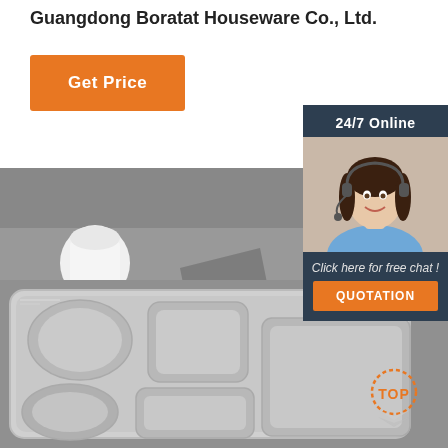Guangdong Boratat Houseware Co., Ltd.
Get Price
[Figure (photo): 24/7 Online customer service representative - woman wearing headset smiling]
24/7 Online
Click here for free chat !
QUOTATION
[Figure (photo): Stainless steel divided lunch tray with multiple compartments on grey background]
[Figure (logo): TOP badge logo with dotted circle]